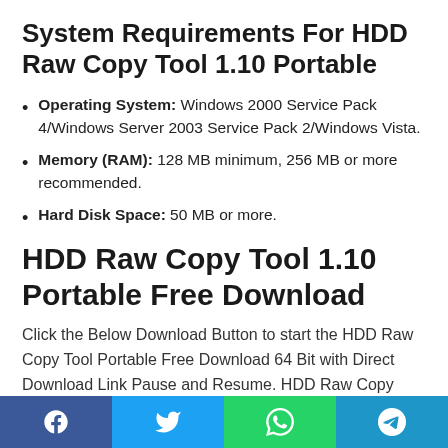System Requirements For HDD Raw Copy Tool 1.10 Portable
Operating System: Windows 2000 Service Pack 4/Windows Server 2003 Service Pack 2/Windows Vista.
Memory (RAM): 128 MB minimum, 256 MB or more recommended.
Hard Disk Space: 50 MB or more.
HDD Raw Copy Tool 1.10 Portable Free Download
Click the Below Download Button to start the HDD Raw Copy Tool Portable Free Download 64 Bit with Direct Download Link Pause and Resume. HDD Raw Copy Tool